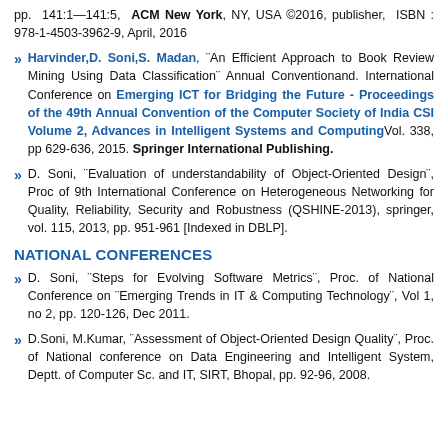pp. 141:1—141:5, ACM New York, NY, USA ©2016, publisher, ISBN : 978-1-4503-3962-9, April, 2016
Harvinder,D. Soni,S. Madan, "An Efficient Approach to Book Review Mining Using Data Classification" Annual Conventionand. International Conference on Emerging ICT for Bridging the Future - Proceedings of the 49th Annual Convention of the Computer Society of India CSI Volume 2, Advances in Intelligent Systems and Computing Vol. 338, pp 629-636, 2015. Springer International Publishing.
D. Soni, "Evaluation of understandability of Object-Oriented Design", Proc of 9th International Conference on Heterogeneous Networking for Quality, Reliability, Security and Robustness (QSHINE-2013), springer, vol. 115, 2013, pp. 951-961 [Indexed in DBLP].
NATIONAL CONFERENCES
D. Soni, "Steps for Evolving Software Metrics", Proc. of National Conference on "Emerging Trends in IT & Computing Technology", Vol 1, no 2, pp. 120-126, Dec 2011.
D.Soni, M.Kumar, "Assessment of Object-Oriented Design Quality", Proc. of National conference on Data Engineering and Intelligent System, Deptt. of Computer Sc. and IT, SIRT, Bhopal, pp. 92-96, 2008.